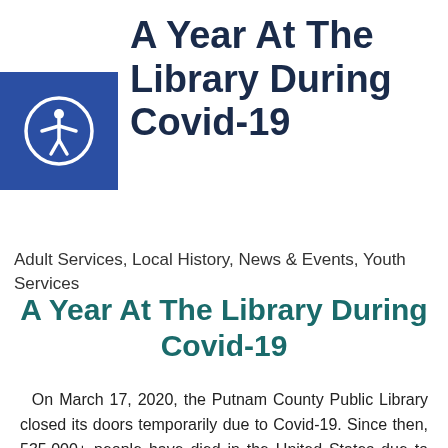A Year At The Library During Covid-19
[Figure (logo): Accessibility icon — white person with arms outstretched in a circle, on a blue square background]
Adult Services, Local History, News & Events, Youth Services
A Year At The Library During Covid-19
On March 17, 2020, the Putnam County Public Library closed its doors temporarily due to Covid-19. Since then, 535,000+ people have died in the United States due to Covid-19, with millions infected. Sixty of our community members have passed due to Covid-19 in the past year. The library mourns their loss, as well as the loss of every person due to Covid-19.